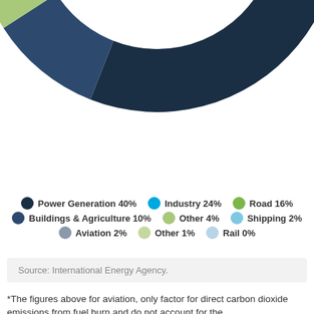[Figure (donut-chart): CO2 Emissions by Sector]
Source: International Energy Agency.
*The figures above for aviation, only factor for direct carbon dioxide emissions from fuel burn and do not account for the